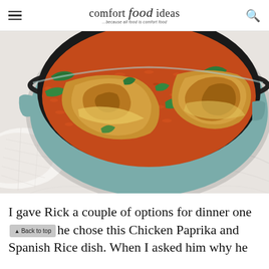comfort food ideas — ...because all food is comfort food
[Figure (photo): Overhead view of a teal/sage Dutch oven containing Chicken Paprika and Spanish Rice dish, with golden-brown chicken pieces, orange-red rice, and wilted green spinach leaves, placed on a white marble surface next to a white linen cloth.]
I gave Rick a couple of options for dinner one night and he chose this Chicken Paprika and Spanish Rice dish. When I asked him why he